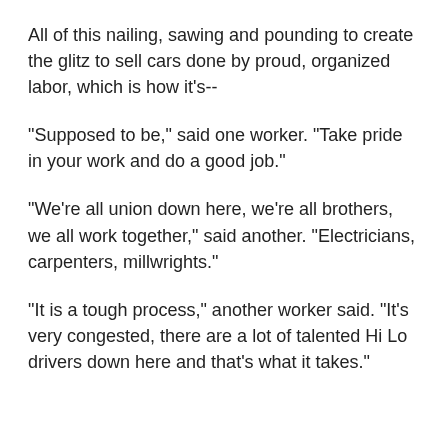All of this nailing, sawing and pounding to create the glitz to sell cars done by proud, organized labor, which is how it's--
"Supposed to be," said one worker. "Take pride in your work and do a good job."
"We're all union down here, we're all brothers, we all work together," said another. "Electricians, carpenters, millwrights."
"It is a tough process," another worker said. "It's very congested, there are a lot of talented Hi Lo drivers down here and that's what it takes."